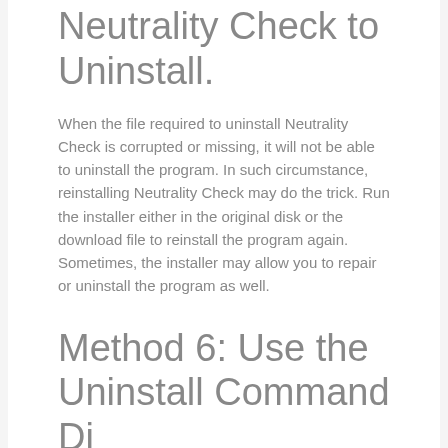Neutrality Check to Uninstall.
When the file required to uninstall Neutrality Check is corrupted or missing, it will not be able to uninstall the program. In such circumstance, reinstalling Neutrality Check may do the trick. Run the installer either in the original disk or the download file to reinstall the program again. Sometimes, the installer may allow you to repair or uninstall the program as well.
Method 6: Use the Uninstall Command Displayed in the